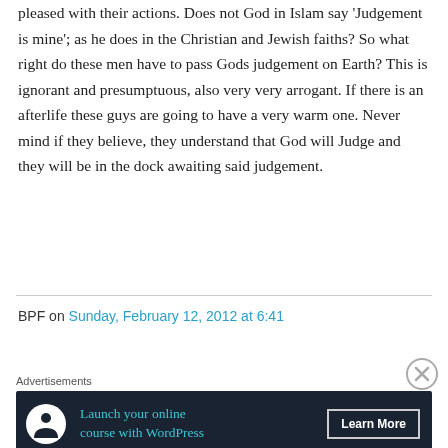pleased with their actions. Does not God in Islam say 'Judgement is mine'; as he does in the Christian and Jewish faiths? So what right do these men have to pass Gods judgement on Earth? This is ignorant and presumptuous, also very very arrogant. If there is an afterlife these guys are going to have a very warm one. Never mind if they believe, they understand that God will Judge and they will be in the dock awaiting said judgement.
BPF on Sunday, February 12, 2012 at 6:41
[Figure (other): Advertisement banner: 'Launch your online course with WordPress' with a Learn More button on dark navy background with tree/person icon]